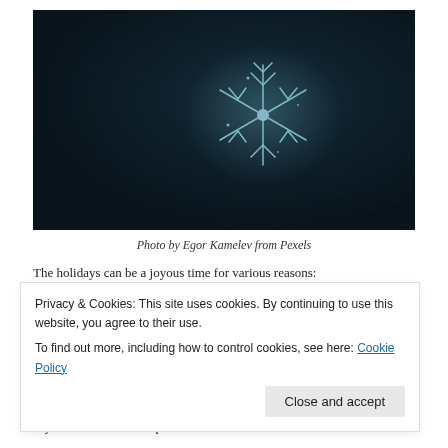[Figure (photo): Close-up macro photograph of a snowflake crystal on dark fibrous background, teal/blue tones]
Photo by Egor Kamelev from Pexels
The holidays can be a joyous time for various reasons:
Privacy & Cookies: This site uses cookies. By continuing to use this website, you agree to their use.
To find out more, including how to control cookies, see here: Cookie Policy
Close and accept
If you would like to help a loved one who seems down